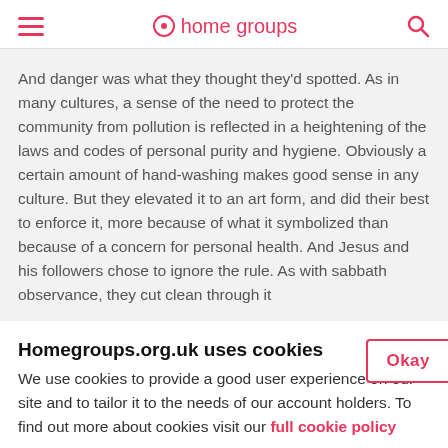home groups
And danger was what they thought they'd spotted. As in many cultures, a sense of the need to protect the community from pollution is reflected in a heightening of the laws and codes of personal purity and hygiene. Obviously a certain amount of hand-washing makes good sense in any culture. But they elevated it to an art form, and did their best to enforce it, more because of what it symbolized than because of a concern for personal health. And Jesus and his followers chose to ignore the rule. As with sabbath observance, they cut clean through it
Homegroups.org.uk uses cookies
We use cookies to provide a good user experience on our site and to tailor it to the needs of our account holders. To find out more about cookies visit our full cookie policy